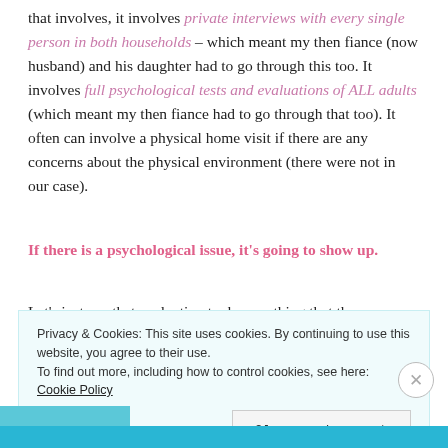that involves, it involves private interviews with every single person in both households – which meant my then fiance (now husband) and his daughter had to go through this too. It involves full psychological tests and evaluations of ALL adults (which meant my then fiance had to go through that too). It often can involve a physical home visit if there are any concerns about the physical environment (there were not in our case).
If there is a psychological issue, it's going to show up.
Let's just say that evaluation took everything that the
Privacy & Cookies: This site uses cookies. By continuing to use this website, you agree to their use. To find out more, including how to control cookies, see here: Cookie Policy